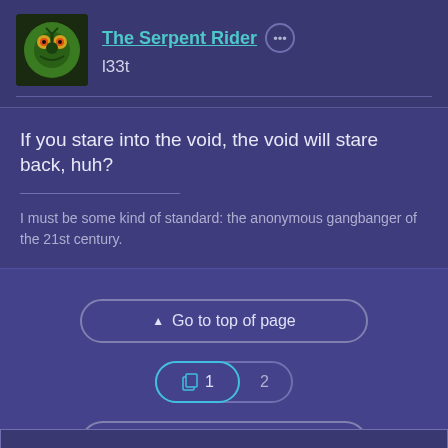The Serpent Rider ··· l33t
If you stare into the void, the void will stare back, huh?
I must be some kind of standard: the anonymous gangbanger of the 21st century.
▲ Go to top of page
1  2
↩ Back to Milliways